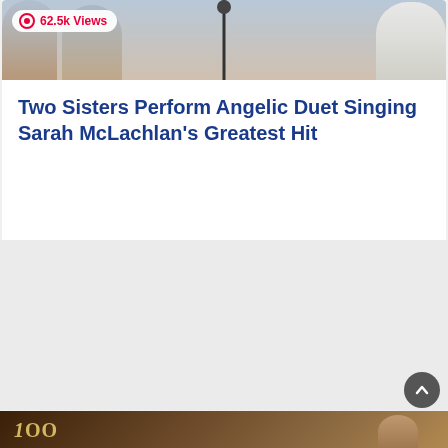[Figure (photo): Top portion of a photo showing two people near a microphone stand, cropped at top of page]
62.5k Views
Two Sisters Perform Angelic Duet Singing Sarah McLachlan's Greatest Hit
[Figure (photo): Bottom portion of another video thumbnail showing a person and the number 100 on screen]